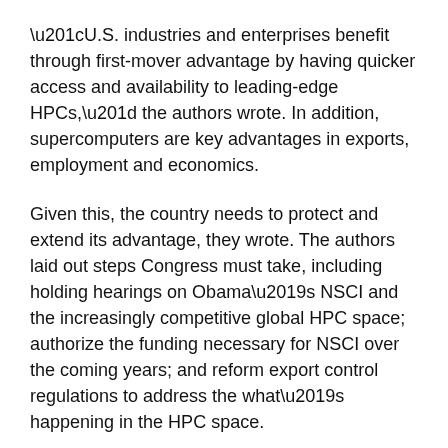“U.S. industries and enterprises benefit through first-mover advantage by having quicker access and availability to leading-edge HPCs,” the authors wrote. In addition, supercomputers are key advantages in exports, employment and economics.
Given this, the country needs to protect and extend its advantage, they wrote. The authors laid out steps Congress must take, including holding hearings on Obama’s NSCI and the increasingly competitive global HPC space; authorize the funding necessary for NSCI over the coming years; and reform export control regulations to address the what’s happening in the HPC space.
In addition, the current and future presidential administrations and their agencies must make technology activities a priority...